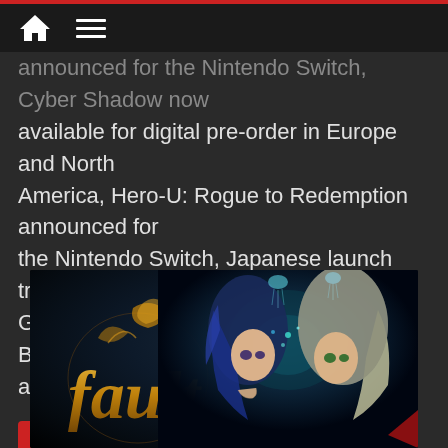Navigation header with home and menu icons
announced for the Nintendo Switch, Cyber Shadow now available for digital pre-order in Europe and North America, Hero-U: Rogue to Redemption announced for the Nintendo Switch, Japanese launch trailer for Ghostrunner, Japanese release date for Bouncing Hero, and Japanese release for Distraint 2!
Read more
[Figure (illustration): Promotional image for the visual novel 'fault' showing the stylized gold 'fault' logo text on the left and two anime-style characters on the right against a dark background with jellyfish and sparkles]